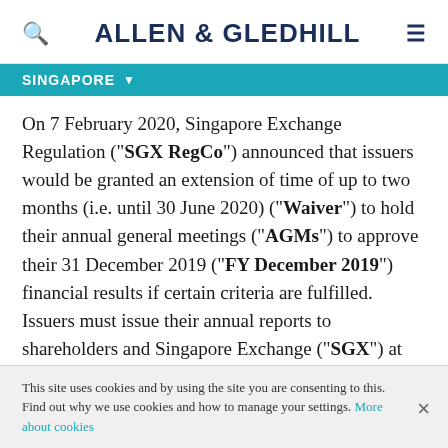ALLEN & GLEDHILL
SINGAPORE
On 7 February 2020, Singapore Exchange Regulation ("SGX RegCo") announced that issuers would be granted an extension of time of up to two months (i.e. until 30 June 2020) ("Waiver") to hold their annual general meetings ("AGMs") to approve their 31 December 2019 ("FY December 2019") financial results if certain criteria are fulfilled. Issuers must issue their annual reports to shareholders and Singapore Exchange ("SGX") at least 14 days before the date of their AGM.
This site uses cookies and by using the site you are consenting to this. Find out why we use cookies and how to manage your settings. More about cookies